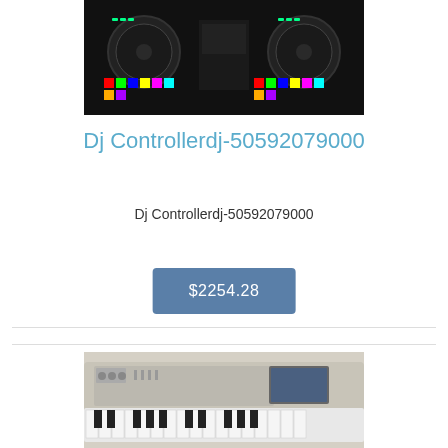[Figure (photo): Photo of a DJ controller with colorful pads and jog wheels on a dark background]
Dj Controllerdj-50592079000
Dj Controllerdj-50592079000
$2254.28
[Figure (photo): Photo of a keyboard synthesizer workstation with keys and control panel]